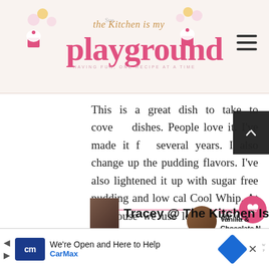[Figure (logo): Sue The Kitchen Is My Playground blog logo with pink cursive and decorative cupcake graphics]
This is a great dish to take to covered dishes. People love it. I've made it for several years. I also change up the pudding flavors. I've also lightened it up with sugar free pudding and low cal Cool Whip. At my house we use low fat or skim milk, so that was a given.
WHAT'S NEXT → Vanilla & Chocolate N...
Tracey @ The Kitchen Is My
[Figure (other): CarMax advertisement banner: We're Open and Here to Help, CarMax logo in blue]
We're Open and Here to Help CarMax